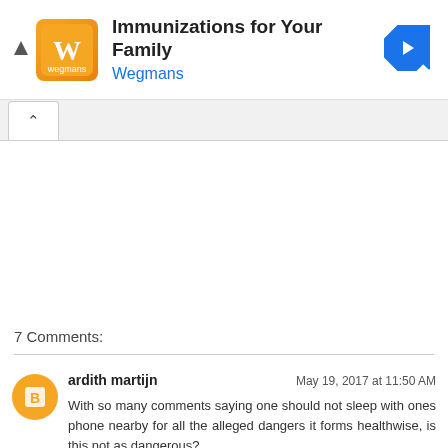[Figure (screenshot): Advertisement banner: orange logo with Wegmans branding, title 'Immunizations for Your Family', blue arrow navigation icon on right]
7 Comments:
ardith martijn
May 19, 2017 at 11:50 AM
With so many comments saying one should not sleep with ones phone nearby for all the alleged dangers it forms healthwise, is this not as dangerous?